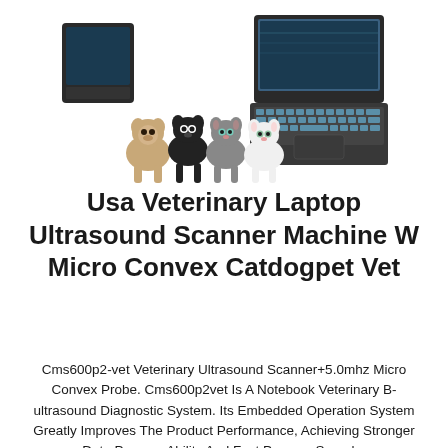[Figure (photo): Photo of a veterinary laptop ultrasound scanner machine alongside three cats and a dog (small terrier, black French bulldog, grey cat, white cat), and a laptop-style ultrasound device]
Usa Veterinary Laptop Ultrasound Scanner Machine W Micro Convex Catdogpet Vet
Cms600p2-vet Veterinary Ultrasound Scanner+5.0mhz Micro Convex Probe. Cms600p2vet Is A Notebook Veterinary B-ultrasound Diagnostic System. Its Embedded Operation System Greatly Improves The Product Performance, Achieving Stronger Data Process Ability And Fast Process Speed...